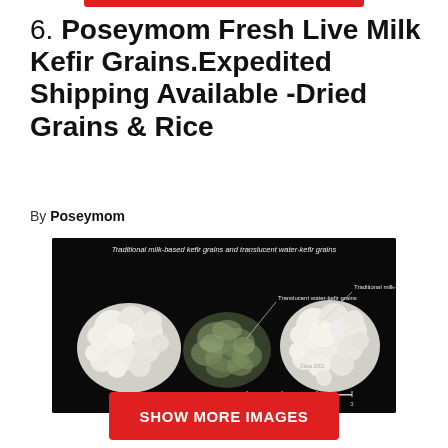6. Poseymom Fresh Live Milk Kefir Grains.Expedited Shipping Available -Dried Grains & Rice
By Poseymom
[Figure (photo): Photo of traditional milk-based kefir grains and translucent water-kefir grains on a black background with a centimeter scale ruler. Labels indicate 'Traditional milk-based kefir grains' and 'Translucent water-kefir grains'. Caption at top reads 'Traditional milk-based kefir grains and translucent water-kefir grains'. Copyright dna 2001.]
SHOW MORE IMAGES